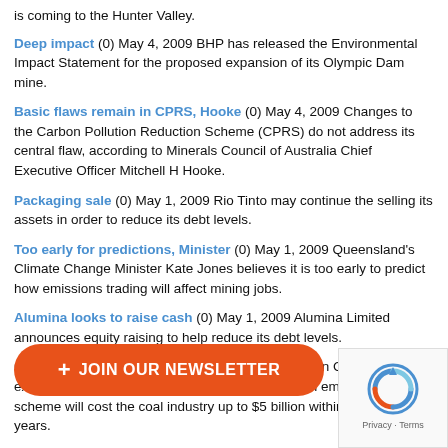is coming to the Hunter Valley.
Deep impact (0) May 4, 2009 BHP has released the Environmental Impact Statement for the proposed expansion of its Olympic Dam mine.
Basic flaws remain in CPRS, Hooke (0) May 4, 2009 Changes to the Carbon Pollution Reduction Scheme (CPRS) do not address its central flaw, according to Minerals Council of Australia Chief Executive Officer Mitchell H Hooke.
Packaging sale (0) May 1, 2009 Rio Tinto may continue the selling its assets in order to reduce its debt levels.
Too early for predictions, Minister (0) May 1, 2009 Queensland's Climate Change Minister Kate Jones believes it is too early to predict how emissions trading will affect mining jobs.
Alumina looks to raise cash (0) May 1, 2009 Alumina Limited announces equity raising to help reduce its debt levels.
Coal being left out, ACA (0) May 1, 2009 Australian Coal Association executive director Ralph Hillman believes a carbon emissions trading scheme will cost the coal industry up to $5 billion within its first five years.
A final extension (0) May 1, 2009 OZ Minerals lenders have once again extended the refinancing date of its loans.
A fine endeavour (0) April 30, 2009 CBH has released its quarterly